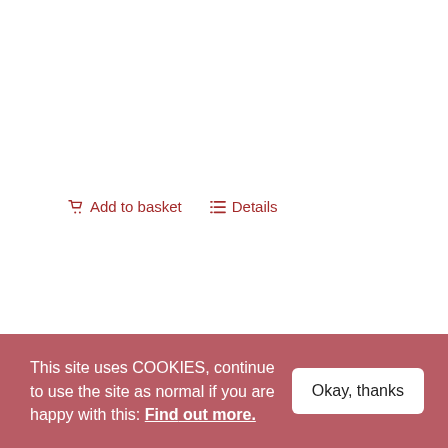Add to basket
Details
Gripping Stuff Dry-Wipe Monthly Planner
£19.99
Gripping Stuff 'stick almost anywhere' dry-wipe monthly planner - sticks straight
This site uses COOKIES, continue to use the site as normal if you are happy with this: Find out more.